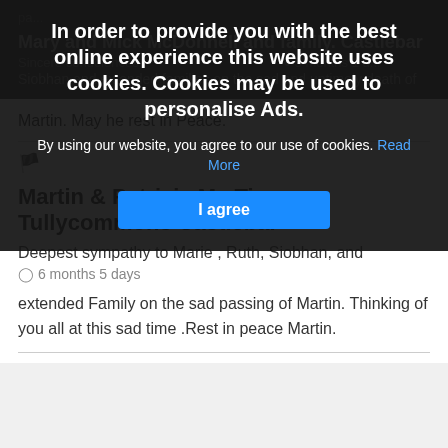In order to provide you with the best online experience this website uses cookies. Cookies may be used to personalise Ads.
By using our website, you agree to our use of cookies. Read More
I agree
Mary and Mick McDonnell and family. Castlebar
Sincere condolences
Siobhan and extended families on the sad and untimely death of
Martin. May he rest in Peace.
Martin & Patricia Mc Tigue Tullycommons Castlebar
Deepest sympathy to Marie , Ruth, Siobhan, and 6 months 5 days extended Family on the sad passing of Martin. Thinking of you all at this sad time .Rest in peace Martin.